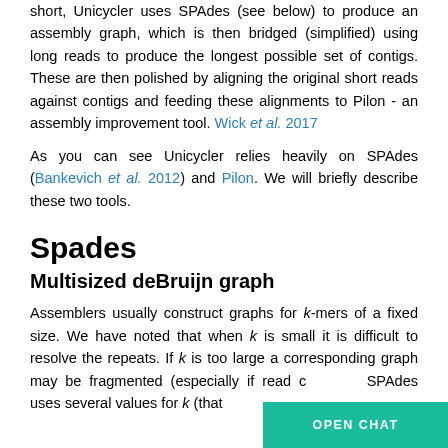short, Unicycler uses SPAdes (see below) to produce an assembly graph, which is then bridged (simplified) using long reads to produce the longest possible set of contigs. These are then polished by aligning the original short reads against contigs and feeding these alignments to Pilon - an assembly improvement tool. Wick et al. 2017
As you can see Unicycler relies heavily on SPAdes (Bankevich et al. 2012) and Pilon. We will briefly describe these two tools.
Spades
Multisized deBruijn graph
Assemblers usually construct graphs for k-mers of a fixed size. We have noted that when k is small it is difficult to resolve the repeats. If k is too large a corresponding graph may be fragmented (especially if read coverage SPAdes uses several values for k (that